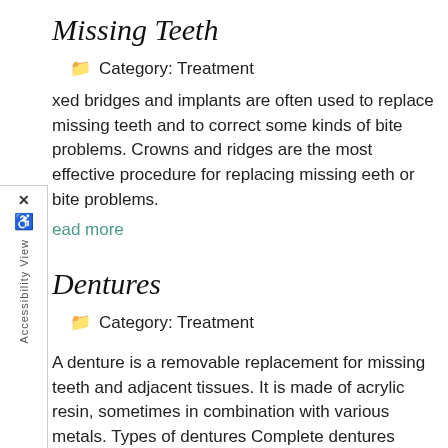Missing Teeth
Category: Treatment
Fixed bridges and implants are often used to replace missing teeth and to correct some kinds of bite problems. Crowns and bridges are the most effective procedure for replacing missing teeth or bite problems.
Read more
Dentures
Category: Treatment
A denture is a removable replacement for missing teeth and adjacent tissues. It is made of acrylic resin, sometimes in combination with various metals. Types of dentures Complete dentures replace all the teeth, while a partial denture fills in the spaces created by missing teeth and prevents
Read more